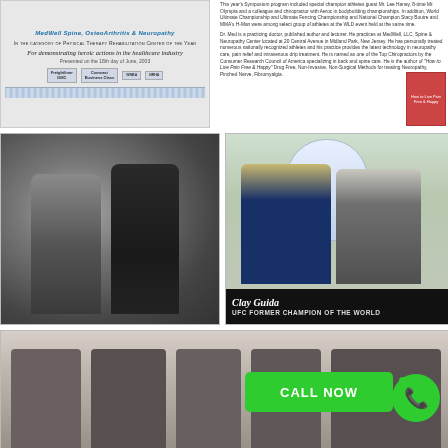[Figure (photo): Award certificate for MedWell Spine, OsteoArthritis & Neuropathy, In the category of Physical Therapy Rehabilitation Center of the Year, For demonstrating heroic actions in the healthcare industry, presented on the 18th day of June, 2003, with sponsor logos.]
This year's Symposium program included special champion athletes guest Mr. Lee Haney, 8-time Mr. Olympia and a colleague and chiropractor with Aeroc in bodybuilding championships. In addition, World Ultimate Championship and Ultimate Fencing Championship and National Champion Stacy Boutre and MMA's H-Man were among select group of athletes at the WLD event held at the same time. Dr. Med is a practicing doctor, published author and lecturer. He practices at MedWell, LLC, Spine & Neuropathy Center located at 20 Central Avenue in Midland Park, New Jersey. He has personally treated numerous nationally recognized athletes and his practice provides the latest technology in neuropathy care, pain relief and intravenous drip treatment. He is named as one of the Top Chiropractors by the Consumer Research Council of America specializing in back and spine care. He is the author of 'How to Live Pain Free & Happy' Drug Free, Non-Invasive, Non-Surgical Methods for treating Neuropathy, Pinched Nerve, Fibromyalgia.
[Figure (photo): Two men in suits shaking hands, black and white photo.]
[Figure (photo): Two men posing together outdoors, with text overlay: Clay Guida, UFC FORMER CHAMPION OF THE WORLD.]
[Figure (photo): Group of men in suits wearing medals, standing together indoors.]
CALL NOW